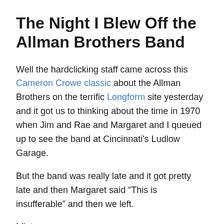The Night I Blew Off the Allman Brothers Band
Well the hardclicking staff came across this Cameron Crowe classic about the Allman Brothers on the terrific Longform site yesterday and it got us to thinking about the time in 1970 when Jim and Rae and Margaret and I queued up to see the band at Cincinnati’s Ludlow Garage.
But the band was really late and it got pretty late and then Margaret said “This is insufferable” and then we left.
Idiots.
Because . . . via The Basement Rug: